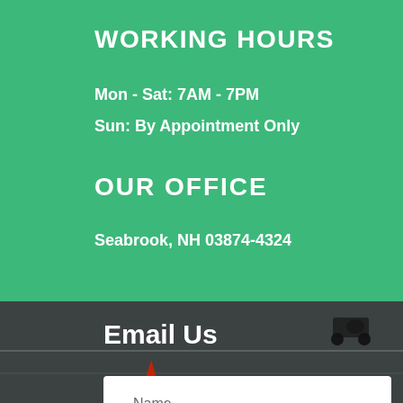WORKING HOURS
Mon - Sat: 7AM - 7PM
Sun: By Appointment Only
OUR OFFICE
Seabrook, NH 03874-4324
[Figure (photo): Background photo of a road or parking area with a motorcycle silhouette and a red traffic cone]
Email Us
Name